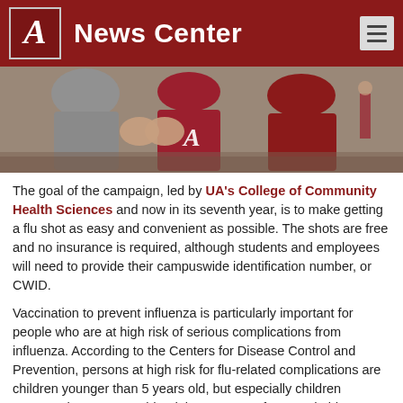A News Center
[Figure (photo): Students fist-bumping outdoors on campus, wearing University of Alabama crimson apparel]
The goal of the campaign, led by UA's College of Community Health Sciences and now in its seventh year, is to make getting a flu shot as easy and convenient as possible. The shots are free and no insurance is required, although students and employees will need to provide their campuswide identification number, or CWID.
Vaccination to prevent influenza is particularly important for people who are at high risk of serious complications from influenza. According to the Centers for Disease Control and Prevention, persons at high risk for flu-related complications are children younger than 5 years old, but especially children younger than 2 years old, adults 65 years of age and older,